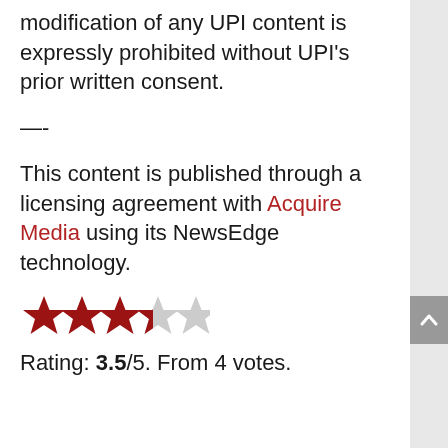modification of any UPI content is expressly prohibited without UPI's prior written consent.
—-
This content is published through a licensing agreement with Acquire Media using its NewsEdge technology.
[Figure (other): Star rating graphic showing 3.5 out of 5 stars — three full dark red stars, one half star, one empty star]
Rating: 3.5/5. From 4 votes.